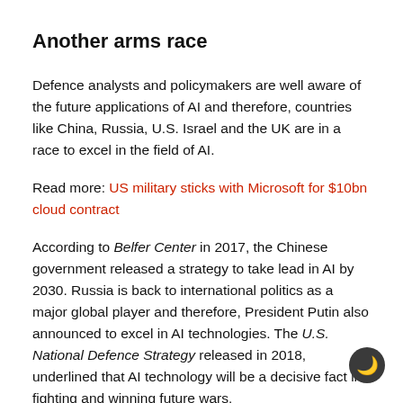Another arms race
Defence analysts and policymakers are well aware of the future applications of AI and therefore, countries like China, Russia, U.S. Israel and the UK are in a race to excel in the field of AI.
Read more: US military sticks with Microsoft for $10bn cloud contract
According to Belfer Center in 2017, the Chinese government released a strategy to take lead in AI by 2030. Russia is back to international politics as a major global player and therefore, President Putin also announced to excel in AI technologies. The U.S. National Defence Strategy released in 2018, underlined that AI technology will be a decisive fact in fighting and winning future wars.